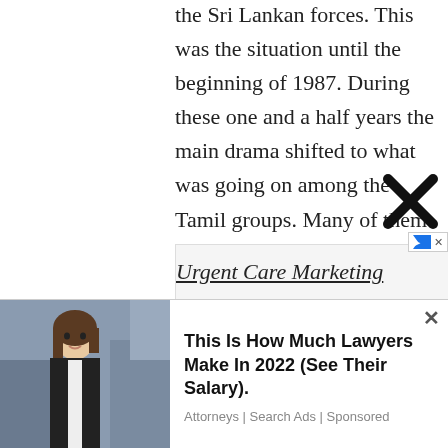the Sri Lankan forces. This was the situation until the beginning of 1987. During these one and a half years the main drama shifted to what was going on among the Tamil groups. Many of them had become depoliticised groups under Indian patronage, cut off from the aspirations of their people, whose differences were cultivated and exploited by India. Attempts by interested Tamils to bring an understanding among them so as not to let their differences betray the common struggle against the Sri Lankan State, failed. The differences were experienced by the people i
Urgent Care Marketing
[Figure (screenshot): Advertisement overlay showing a woman in business attire with text 'This Is How Much Lawyers Make In 2022 (See Their Salary).' from Attorneys | Search Ads | Sponsored, with a close (X) button.]